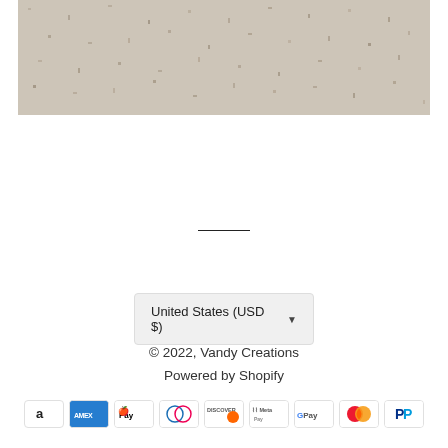[Figure (photo): Close-up photo of a light grey/beige granite or stone texture with subtle dark speckles, used as a product image on an e-commerce page.]
[Figure (infographic): Row of payment method icons: Amazon, American Express, Apple Pay, Diners Club, Discover, Meta Pay, Google Pay, Mastercard, PayPal]
United States (USD $) ▼
© 2022, Vandy Creations
Powered by Shopify